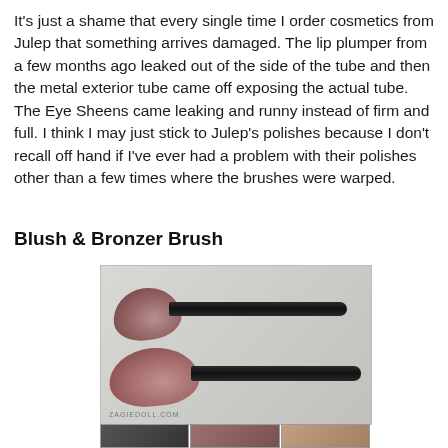It's just a shame that every single time I order cosmetics from Julep that something arrives damaged. The lip plumper from a few months ago leaked out of the side of the tube and then the metal exterior tube came off exposing the actual tube. The Eye Sheens came leaking and runny instead of firm and full. I think I may just stick to Julep's polishes because I don't recall off hand if I've ever had a problem with their polishes other than a few times where the brushes were warped.
Blush & Bronzer Brush
[Figure (photo): Two makeup brushes (blush and bronzer) with black handles and pink/rose-toned bristles against a light grey background. Watermark ZAGIEDOLL.COM visible at bottom left.]
[Figure (photo): Three thumbnail images of brush closeups at the bottom of the page.]